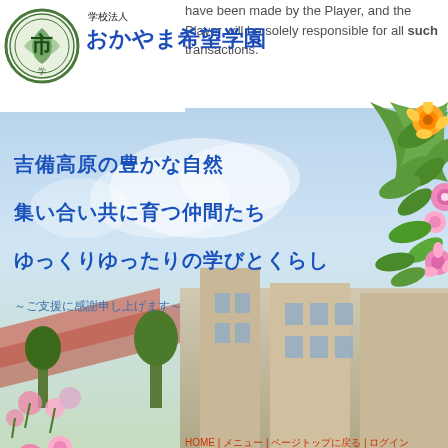have been made by the Player, and the Player will be solely responsible for all such transactions.
[Figure (logo): Circular school emblem/logo with Japanese characters]
学校法人 おかやま希望学園
[Figure (photo): Hero banner with sky background and school building. Decorative floral border on the right side with flowers and green leaves.]
吉備高原の豊かな自然
集い合い共に育つ仲間たち
ゆっくりゆったりの学びとくらし
～ご支援に感謝申し上げます～
ME
NU
HOME | メニュー | ページトップに戻る | ログイン
Rock garden and reception in the west wing and patio of the stars at the historic casino san clemente. The two lovers are both beach wanderers and surfers so the casino in san clemente served to be the perfect venue for their day. The casino san clemente is a historic seaside space for weddings, intimate gatherings and large events alike. To navigate, press the arrow keys. This rock garden stands as one of the exceptional wedding venues in orange county. It has a historical fireplace as its focal point. With our